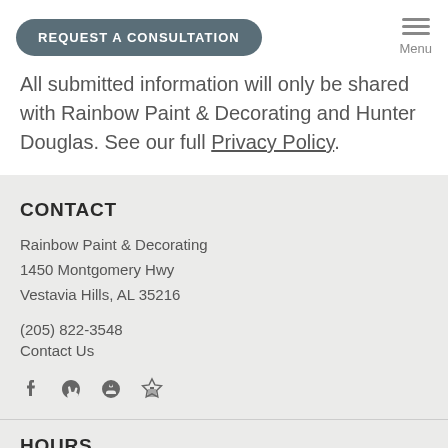REQUEST A CONSULTATION
All submitted information will only be shared with Rainbow Paint & Decorating and Hunter Douglas. See our full Privacy Policy.
CONTACT
Rainbow Paint & Decorating
1450 Montgomery Hwy
Vestavia Hills, AL 35216
(205) 822-3548
Contact Us
[Figure (illustration): Social media icons: Facebook, Yelp, Pinterest, Houzz]
HOURS